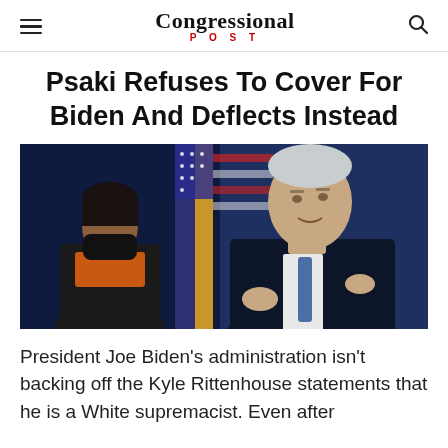Congressional POST
Psaki Refuses To Cover For Biden And Deflects Instead
[Figure (photo): Photo of President Joe Biden speaking at a podium in a dark suit with a blue tie, and Kamala Harris standing behind him wearing a black mask and orange top, with an American flag in the background.]
President Joe Biden's administration isn't backing off the Kyle Rittenhouse statements that he is a White supremacist. Even after